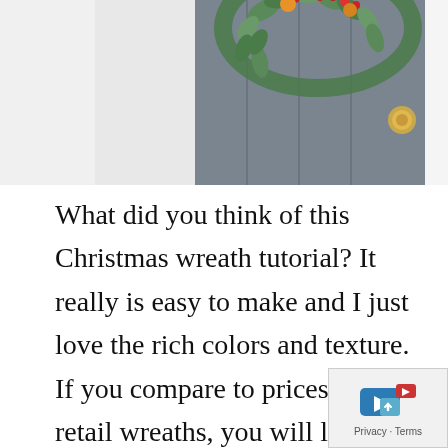[Figure (photo): A gray front door with a Christmas wreath decorated with green eucalyptus leaves, red berries, and orange/yellow accents. A brass door handle is visible on the right side.]
What did you think of this Christmas wreath tutorial? It really is easy to make and I just love the rich colors and texture. If you compare to prices of retail wreaths, you will likely find you will make something beautiful, your own, and for half the price.